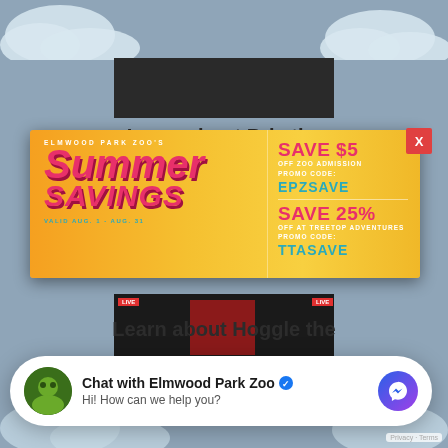Learn about Brie the striped skunk from our
[Figure (screenshot): Elmwood Park Zoo Summer Savings popup banner advertisement. Left side shows 'ELMWOOD PARK ZOO'S' in white text, large cursive 'Summer SAVINGS' in pink/red, 'VALID AUG. 1 - AUG. 31' in teal. Right side shows 'SAVE $5 OFF ZOO ADMISSION PROMO CODE: EPZZSAVE' and 'SAVE 25% OFF AT TREETOP ADVENTURES PROMO CODE: TTASAVE' on yellow/orange background.]
Learn about Hoggle the
educator Elisa as we
Chat with Elmwood Park Zoo
Hi! How can we help you?